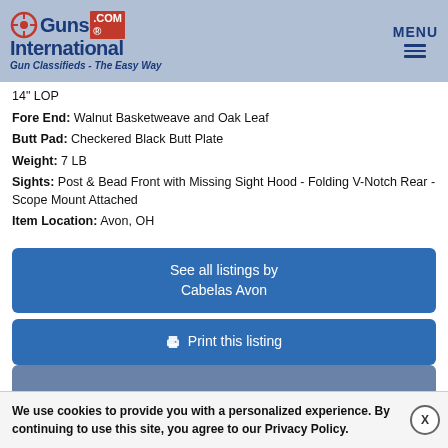GunsInternational.com - Gun Classifieds - The Easy Way
14" LOP
Fore End: Walnut Basketweave and Oak Leaf
Butt Pad: Checkered Black Butt Plate
Weight: 7 LB
Sights: Post & Bead Front with Missing Sight Hood - Folding V-Notch Rear - Scope Mount Attached
Item Location: Avon, OH
See all listings by Cabelas Avon
Print this listing
We use cookies to provide you with a personalized experience. By continuing to use this site, you agree to our Privacy Policy.